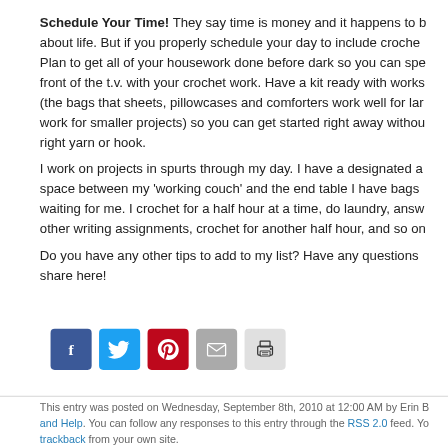Schedule Your Time! They say time is money and it happens to be true about life. But if you properly schedule your day to include crochet time. Plan to get all of your housework done before dark so you can spend some time in front of the t.v. with your crochet work. Have a kit ready with works in progress (the bags that sheets, pillowcases and comforters work well for larger work for smaller projects) so you can get started right away without searching for the right yarn or hook.
I work on projects in spurts through my day. I have a designated area, the space between my 'working couch' and the end table I have bags of projects waiting for me. I crochet for a half hour at a time, do laundry, answer emails, other writing assignments, crochet for another half hour, and so on.

Do you have any other tips to add to my list? Have any questions or comments share here!
[Figure (infographic): Social sharing buttons: Facebook (blue), Twitter (light blue), Pinterest (red), Email (gray), Print (light gray)]
This entry was posted on Wednesday, September 8th, 2010 at 12:00 AM by Erin B and Help. You can follow any responses to this entry through the RSS 2.0 feed. You can trackback from your own site.